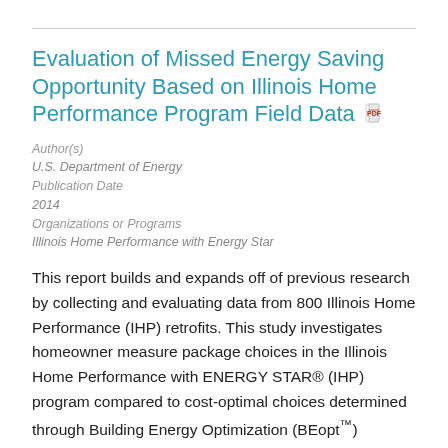Evaluation of Missed Energy Saving Opportunity Based on Illinois Home Performance Program Field Data
Author(s)
U.S. Department of Energy
Publication Date
2014
Organizations or Programs
Illinois Home Performance with Energy Star
This report builds and expands off of previous research by collecting and evaluating data from 800 Illinois Home Performance (IHP) retrofits. This study investigates homeowner measure package choices in the Illinois Home Performance with ENERGY STAR® (IHP) program compared to cost-optimal choices determined through Building Energy Optimization (BEopt™) modeling software.